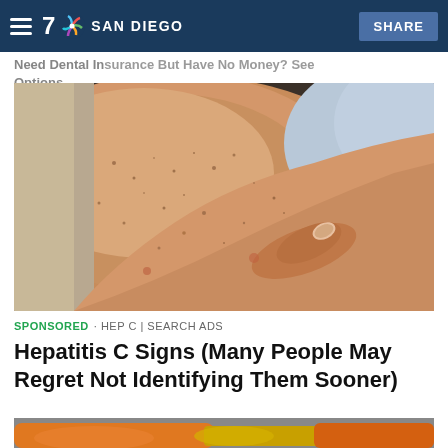Need Dental Insurance But Have No Money? See Options
[Figure (photo): Close-up photo of a person's arm/elbow being held and examined, showing skin with small dark spots or freckles]
SPONSORED · HEP C | SEARCH ADS
Hepatitis C Signs (Many People May Regret Not Identifying Them Sooner)
[Figure (photo): Partial bottom image showing orange and yellow objects, cropped at page bottom]